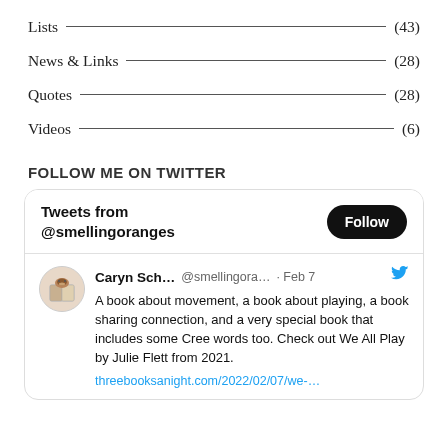Lists (43)
News & Links (28)
Quotes (28)
Videos (6)
FOLLOW ME ON TWITTER
[Figure (screenshot): Twitter widget showing 'Tweets from @smellingoranges' with a Follow button, and a tweet by Caryn Sch... (@smellingora...) from Feb 7 reading: 'A book about movement, a book about playing, a book sharing connection, and a very special book that includes some Cree words too. Check out We All Play by Julie Flett from 2021. threebooksanight.com/2022/02/07/we-...']